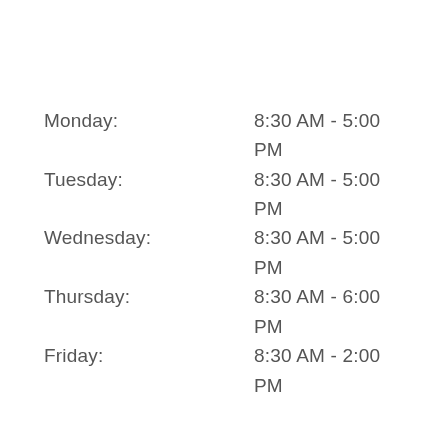Monday: 8:30 AM - 5:00 PM
Tuesday: 8:30 AM - 5:00 PM
Wednesday: 8:30 AM - 5:00 PM
Thursday: 8:30 AM - 6:00 PM
Friday: 8:30 AM - 2:00 PM